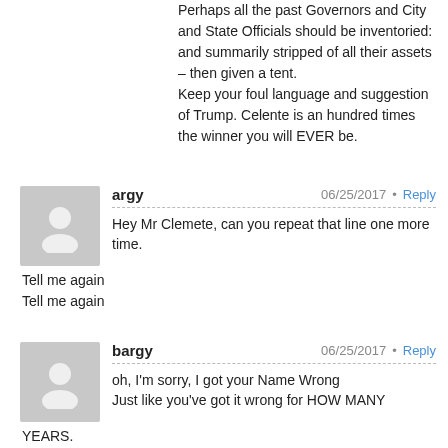Perhaps all the past Governors and City and State Officials should be inventoried: and summarily stripped of all their assets – then given a tent.
Keep your foul language and suggestion of Trump. Celente is an hundred times the winner you will EVER be.
argy
06/25/2017 · Reply
Hey Mr Clemete, can you repeat that line one more time.
Tell me again
Tell me again
bargy
06/25/2017 · Reply
oh, I'm sorry, I got your Name Wrong
Just like you've got it wrong for HOW MANY YEARS.